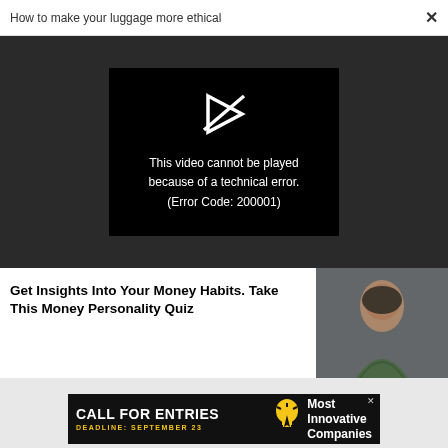How to make your luggage more ethical  ×
[Figure (screenshot): Video player showing error message: This video cannot be played because of a technical error. (Error Code: 200001)]
Get Insights Into Your Money Habits. Take This Money Personality Quiz
[Figure (photo): Woman smiling outdoors wearing a green jacket]
[Figure (infographic): Advertisement: CALL FOR ENTRIES DEADLINE: SEPTEMBER 23 Most Innovative Companies (lightbulb icon)]